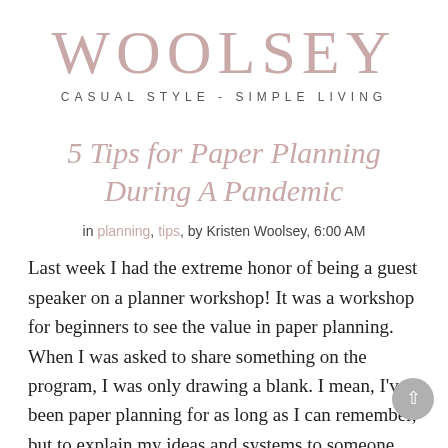WOOLSEY
CASUAL STYLE - SIMPLE LIVING
5 Tips for Paper Planning During A Pandemic
in planning, tips, by Kristen Woolsey, 6:00 AM
Last week I had the extreme honor of being a guest speaker on a planner workshop! It was a workshop for beginners to see the value in paper planning. When I was asked to share something on the program, I was only drawing a blank. I mean, I've been paper planning for as long as I can remember, but to explain my ideas and systems to someone